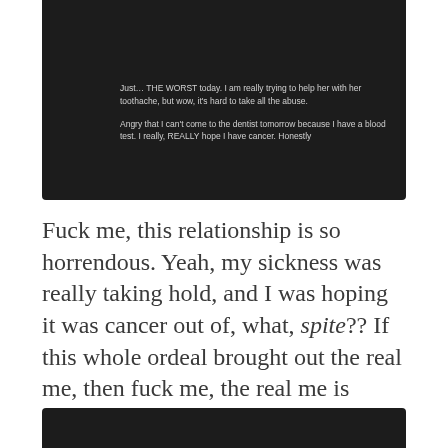[Figure (screenshot): Dark-background screenshot of a text message or journal entry reading: 'Just... THE WORST today. I am really trying to help her with her toothache, but wow, it's hard to take all the abuse. Angry that I can't come to the dentist tomorrow because I have a blood test. I really, REALLY hope I have cancer. Honestly']
Fuck me, this relationship is so horrendous. Yeah, my sickness was really taking hold, and I was hoping it was cancer out of, what, spite?? If this whole ordeal brought out the real me, then fuck me, the real me is gross!
[Figure (screenshot): Partial dark-background screenshot showing bottom portion with a date line reading 'Thursday, 7 January 2021  05:21']